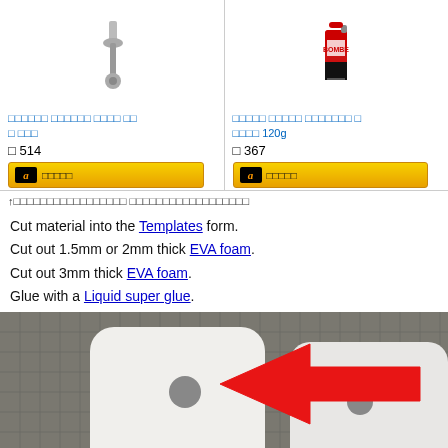[Figure (photo): Two product listings with images, titles in Japanese, prices, and Amazon buy buttons. Left: tool/wrench product priced ¥514. Right: spray can (BOMBE) product priced ¥367.]
↑ (Japanese text) (Japanese text)
Cut material into the Templates form.
Cut out 1.5mm or 2mm thick EVA foam.
Cut out 3mm thick EVA foam.
Glue with a Liquid super glue.
[Figure (photo): Photo showing two EVA foam pieces on a cutting mat. Left piece is 3mm thick, right piece is 1.5mm thick, both white with rounded corners and holes. Red arrow points to the right (1.5mm) piece. Labels '3mm' and '1.5mm' in red text.]